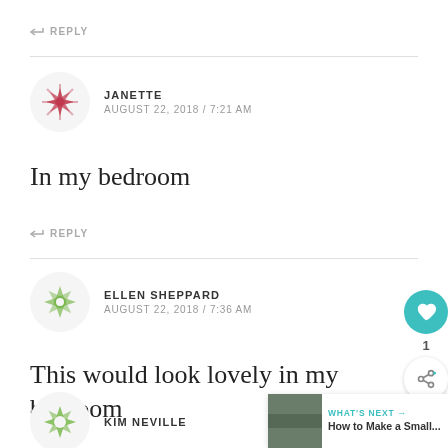REPLY
JANETTE
AUGUST 22, 2018 / 7:21 AM
In my bedroom
REPLY
ELLEN SHEPPARD
AUGUST 22, 2018 / 7:36 AM
This would look lovely in my bedroom
REPLY
KIM NEVILLE
WHAT'S NEXT → How to Make a Small...